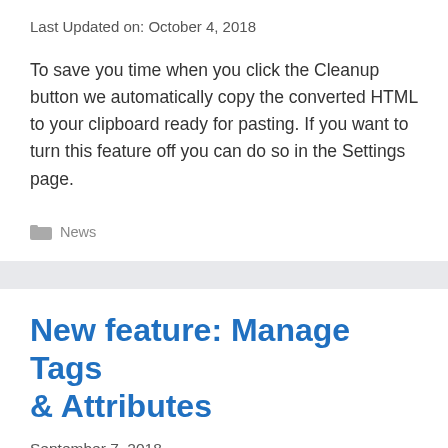Last Updated on: October 4, 2018
To save you time when you click the Cleanup button we automatically copy the converted HTML to your clipboard ready for pasting. If you want to turn this feature off you can do so in the Settings page.
News
New feature: Manage Tags & Attributes
September 7, 2018